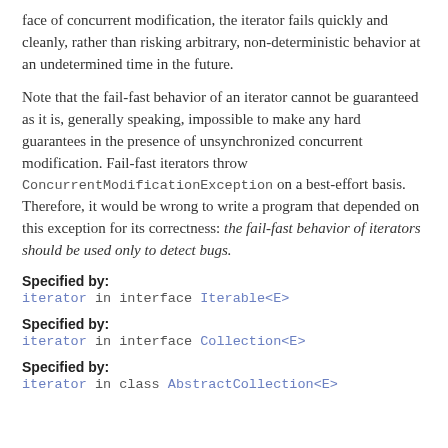face of concurrent modification, the iterator fails quickly and cleanly, rather than risking arbitrary, non-deterministic behavior at an undetermined time in the future.
Note that the fail-fast behavior of an iterator cannot be guaranteed as it is, generally speaking, impossible to make any hard guarantees in the presence of unsynchronized concurrent modification. Fail-fast iterators throw ConcurrentModificationException on a best-effort basis. Therefore, it would be wrong to write a program that depended on this exception for its correctness: the fail-fast behavior of iterators should be used only to detect bugs.
Specified by:
iterator in interface Iterable<E>
Specified by:
iterator in interface Collection<E>
Specified by:
iterator in class AbstractCollection<E>